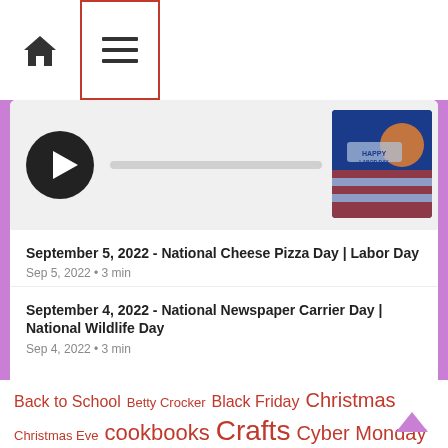Home | Menu
[Figure (screenshot): Media player strip with play button and a thumbnail showing a Happy Labor Day image with pizza]
September 5, 2022 - National Cheese Pizza Day | Labor Day
Sep 5, 2022 • 3 min
September 4, 2022 - National Newspaper Carrier Day | National Wildlife Day
Sep 4, 2022 • 3 min
Back to School
Betty Crocker
Black Friday
Christmas
Christmas Eve
cookbooks
Crafts
Cyber Monday
Easter
Father's Day
Fourth of July
Groundhog Day
Groundhog Day News